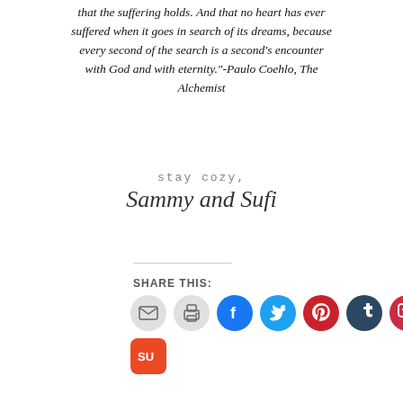that the suffering holds. And that no heart has ever suffered when it goes in search of its dreams, because every second of the search is a second's encounter with God and with eternity."-Paulo Coehlo, The Alchemist
stay cozy,
Sammy and Sufi
SHARE THIS:
[Figure (infographic): Row of social sharing icon buttons: email, print, Facebook, Twitter, Pinterest, Tumblr, Pocket, Reddit, and a second row with StumbleUpon]